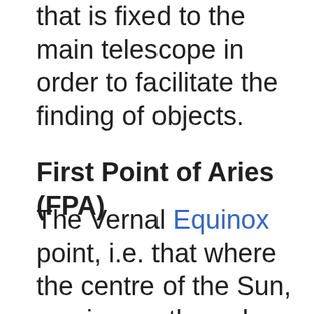that is fixed to the main telescope in order to facilitate the finding of objects.
First Point of Aries (FPA)
The Vernal Equinox point, i.e. that where the centre of the Sun, moving northwards, crosses the equator. It is the reference direction for the equatorial system of co-ordinates.